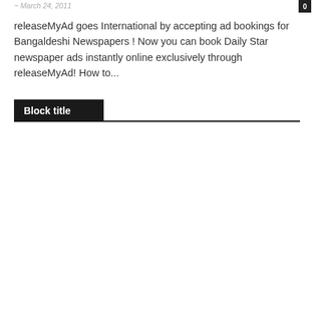~ March 24, 2011
releaseMyAd goes International by accepting ad bookings for Bangaldeshi Newspapers ! Now you can book Daily Star newspaper ads instantly online exclusively through releaseMyAd! How to...
Block title